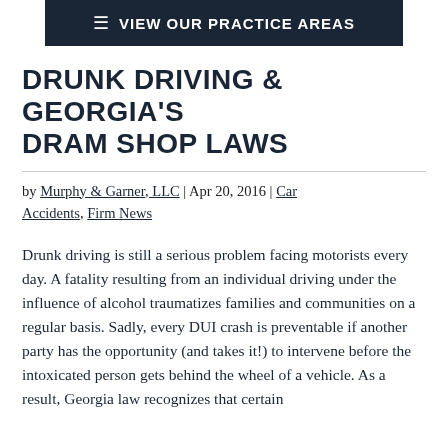VIEW OUR PRACTICE AREAS
DRUNK DRIVING & GEORGIA'S DRAM SHOP LAWS
by Murphy & Garner, LLC | Apr 20, 2016 | Car Accidents, Firm News
Drunk driving is still a serious problem facing motorists every day. A fatality resulting from an individual driving under the influence of alcohol traumatizes families and communities on a regular basis. Sadly, every DUI crash is preventable if another party has the opportunity (and takes it!) to intervene before the intoxicated person gets behind the wheel of a vehicle. As a result, Georgia law recognizes that certain